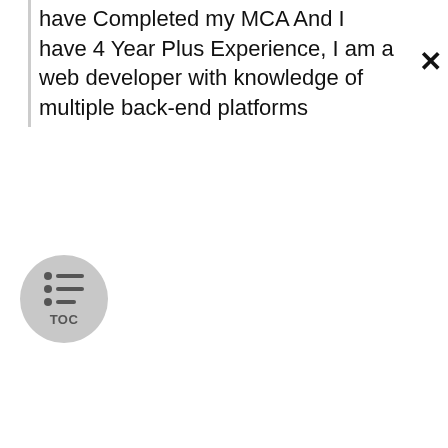have Completed my MCA And I have 4 Year Plus Experience, I am a web developer with knowledge of multiple back-end platforms
[Figure (other): TOC (Table of Contents) circular button with list icon and 'TOC' label, grey background]